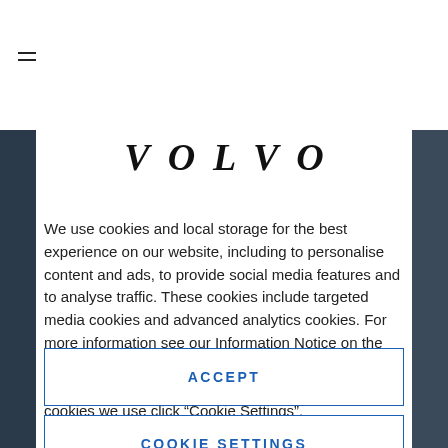[Figure (logo): VOLVO wordmark in bold serif italic uppercase letters with wide letter-spacing]
We use cookies and local storage for the best experience on our website, including to personalise content and ads, to provide social media features and to analyse traffic. These cookies include targeted media cookies and advanced analytics cookies. For more information see our Information Notice on the cookie page. By clicking accept you agree to our use of cookies and local storage. To alter the types of cookies we use click “Cookie Settings”.
ACCEPT
COOKIE SETTINGS